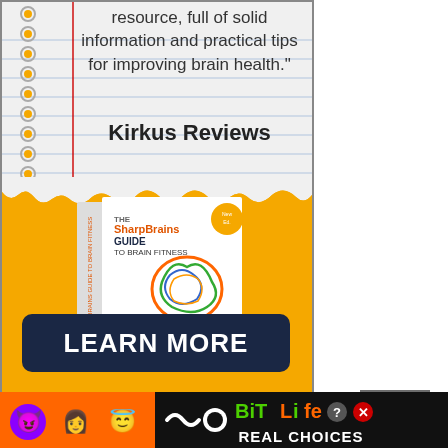resource, full of solid information and practical tips for improving brain health."
Kirkus Reviews
[Figure (illustration): Book cover of 'The SharpBrains Guide to Brain Fitness' with colorful brain illustration on white cover with orange stripe at bottom]
LEARN MORE
Close X
[Figure (illustration): BitLife mobile game advertisement banner with emoji characters (devil, woman, angel smiley) and orange/dark color scheme with text REAL CHOICES]